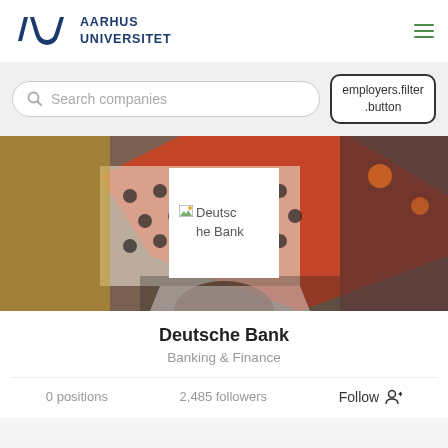[Figure (logo): Aarhus Universitet logo with stylized AU symbol in dark blue and university name text]
AARHUS
UNIVERSITET
Search companies
employers.filter
.button
[Figure (photo): Banner photo showing a person holding colorful polka-dot and orange umbrella with a blurred artistic background]
[Figure (logo): Deutsche Bank logo image (broken/loading state shown)]
Deutsche Bank
Banking & Finance
0 positions
2,485 followers
Follow